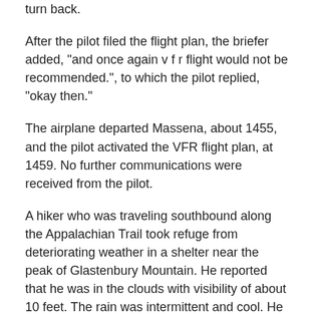turn back.
After the pilot filed the flight plan, the briefer added, "and once again v f r flight would not be recommended.", to which the pilot replied, "okay then."
The airplane departed Massena, about 1455, and the pilot activated the VFR flight plan, at 1459. No further communications were received from the pilot.
A hiker who was traveling southbound along the Appalachian Trail took refuge from deteriorating weather in a shelter near the peak of Glastenbury Mountain. He reported that he was in the clouds with visibility of about 10 feet. The rain was intermittent and cool. He said he suspected there might be freezing rain due to the temperature. Hail was also falling intermittently. The wind was from the west with strong sudden gusts that had a peak velocity of about 25 to 30 miles per hour. The hiker reported that at some time between 1600 and 1615, he